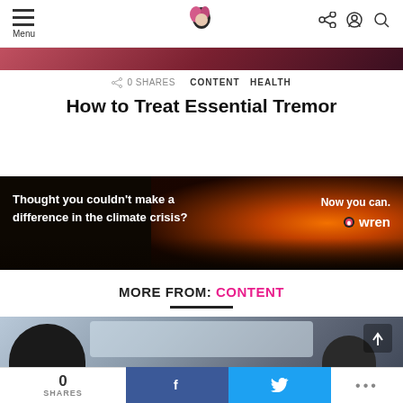Menu | [logo] | [share] [account] [search]
0 SHARES   CONTENT   HEALTH
How to Treat Essential Tremor
[Figure (photo): Advertisement banner with forest fire background. Text reads: 'Thought you couldn't make a difference in the climate crisis? Now you can. wren']
MORE FROM: CONTENT
[Figure (photo): Photo of two people inside a car, view from back seat looking forward through windshield]
0 SHARES | f (Facebook share) | Twitter share | ...